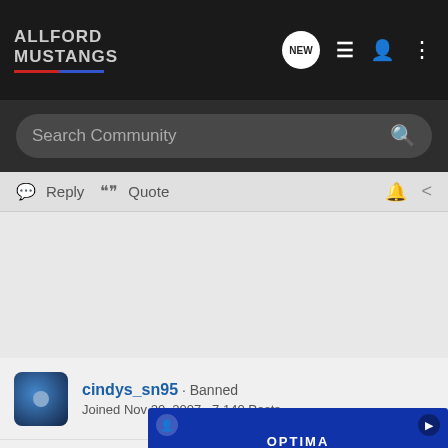AllFord Mustangs — navigation bar with search
Reply  Quote
cindys_sn95 · Banned
Joined Nov 20, 2007 · 7,140 Posts
#9 · Jul 31, 2009
that 10-15 warm is a little low harold. are you still using the 10-40? combined with possible pressure spikes like greek mention... hange the oil a... up